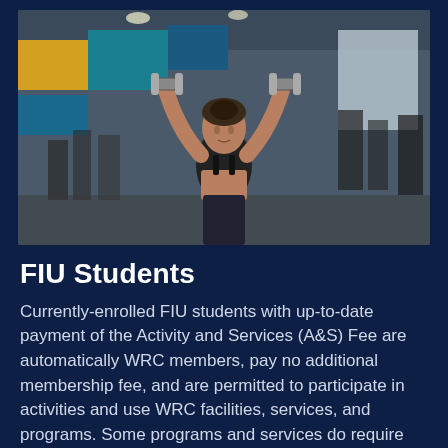[Figure (photo): A woman in a black sports bra and gym shorts lifts dumbbells overhead in a well-lit gym with colorful walls (teal, yellow, blue) and exercise equipment in the background.]
FIU Students
Currently-enrolled FIU students with up-to-date payment of the Activity and Services (A&S) Fee are automatically WRC members, pay no additional membership fee, and are permitted to participate in activities and use WRC facilities, services, and programs. Some programs and services do require additional payment.